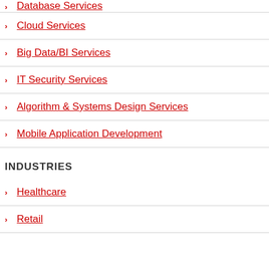Database Services
Cloud Services
Big Data/BI Services
IT Security Services
Algorithm & Systems Design Services
Mobile Application Development
INDUSTRIES
Healthcare
Retail